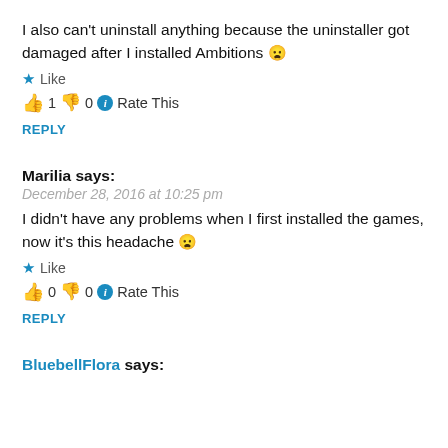I also can't uninstall anything because the uninstaller got damaged after I installed Ambitions 😦
★ Like
👍 1 👎 0 ℹ Rate This
REPLY
Marilia says:
December 28, 2016 at 10:25 pm
I didn't have any problems when I first installed the games, now it's this headache 😦
★ Like
👍 0 👎 0 ℹ Rate This
REPLY
BluebellFlora says: